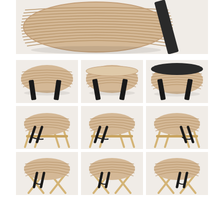[Figure (photo): Large close-up photo of a woven basket with horizontal ribbed texture and black leather carry strap, viewed from the side on a white background]
[Figure (photo): Woven basket without lid, viewed from front-side angle with two black straps hanging down]
[Figure (photo): Woven basket with lid slightly open, viewed from front-side angle with two black straps]
[Figure (photo): Woven basket with dark/black lid closed, viewed from front-side angle with two black straps]
[Figure (photo): Woven basket on wooden four-legged elevated stand, straps hanging down front-left, viewed from angle]
[Figure (photo): Woven basket on wooden four-legged elevated stand, center view, straps hanging]
[Figure (photo): Woven basket on wooden four-legged elevated stand, straps on right side, viewed from angle]
[Figure (photo): Woven basket on X-frame folding wooden stand, straps hanging down, viewed from front-left angle]
[Figure (photo): Woven basket on X-frame folding wooden stand, center view with straps]
[Figure (photo): Woven basket on X-frame folding wooden stand, straps on right, viewed from angle]